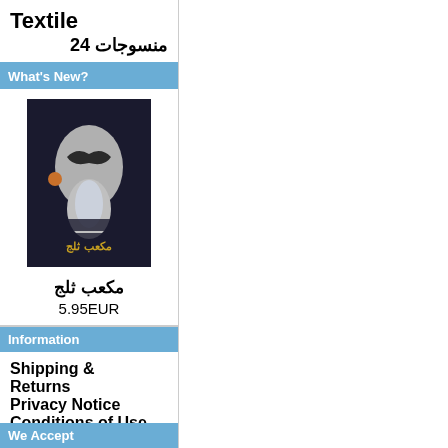Textile
منسوجات  24
What's New?
[Figure (photo): Book cover image for مكعب ثلج showing a face with butterfly on dark background]
مكعب ثلج
5.95EUR
Information
Shipping & Returns
Privacy Notice
Conditions of Use
Contact Us
We Accept